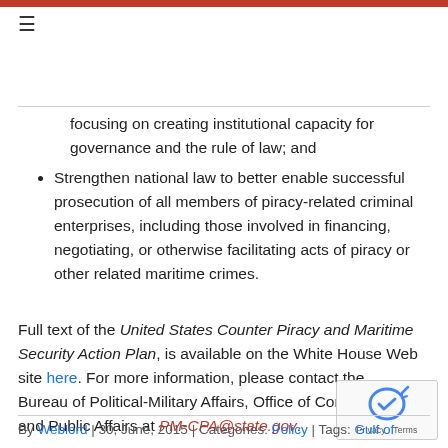focusing on creating institutional capacity for governance and the rule of law; and
Strengthen national law to better enable successful prosecution of all members of piracy-related criminal enterprises, including those involved in financing, negotiating, or otherwise facilitating acts of piracy or other related maritime crimes.
Full text of the United States Counter Piracy and Maritime Security Action Plan, is available on the White House Web site here. For more information, please contact the Bureau of Political-Military Affairs, Office of Congressional and Public Affairs at PM-CPA@state.gov.
By Weblord | 30, June, 2015 | Categories: Policy | Tags: Gulf of